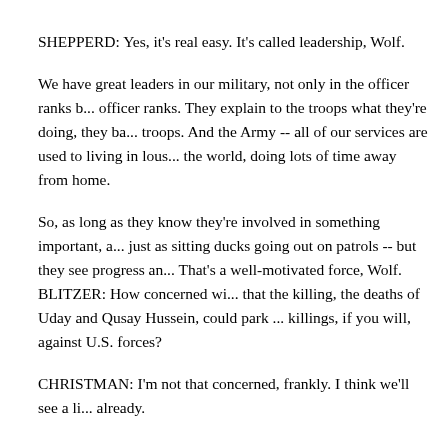SHEPPERD: Yes, it's real easy. It's called leadership, Wolf.
We have great leaders in our military, not only in the officer ranks b... officer ranks. They explain to the troops what they're doing, they ba... troops. And the Army -- all of our services are used to living in lous... the world, doing lots of time away from home.
So, as long as they know they're involved in something important, a... just as sitting ducks going out on patrols -- but they see progress an... That's a well-motivated force, Wolf. BLITZER: How concerned wi... that the killing, the deaths of Uday and Qusay Hussein, could park ... killings, if you will, against U.S. forces?
CHRISTMAN: I'm not that concerned, frankly. I think we'll see a li... already.